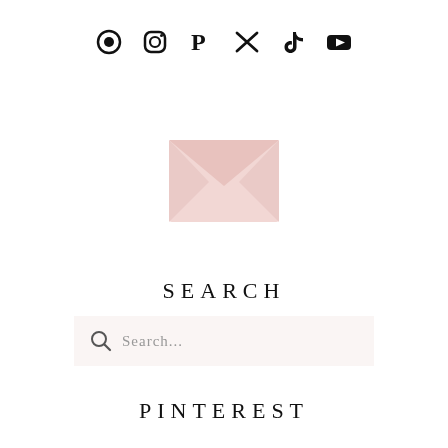[Figure (illustration): Row of 6 social media icons: a circular icon, Instagram, Pinterest, Twitter/X, TikTok, YouTube]
[Figure (illustration): Pink envelope icon]
SEARCH
[Figure (screenshot): Search input bar with magnifying glass icon and placeholder text 'Search...']
PINTEREST